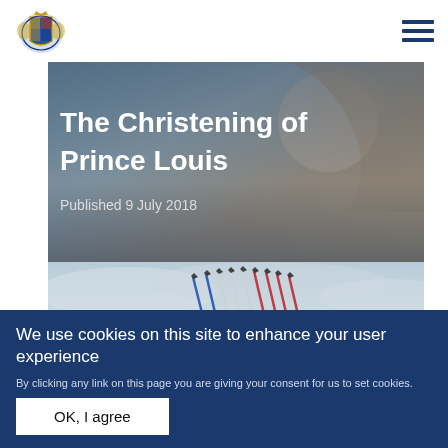[Figure (logo): Royal coat of arms logo]
The Christening of Prince Louis
Published 9 July 2018
[Figure (photo): Red Arrows aerobatic display team flying in formation with red, white and blue smoke trails against a grey sky]
We use cookies on this site to enhance your user experience
By clicking any link on this page you are giving your consent for us to set cookies. No, give me more info
OK, I agree